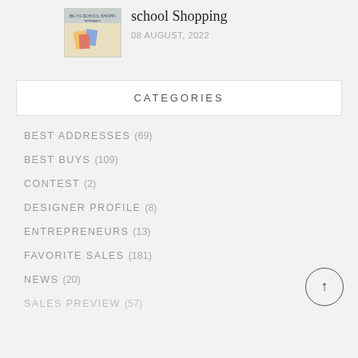[Figure (photo): Thumbnail image for back-to-school shopping article, showing school supplies on a light background with text overlay]
school Shopping
08 AUGUST, 2022
CATEGORIES
BEST ADDRESSES (69)
BEST BUYS (109)
CONTEST (2)
DESIGNER PROFILE (8)
ENTREPRENEURS (13)
FAVORITE SALES (181)
NEWS (20)
SALES PREVIEW (57)